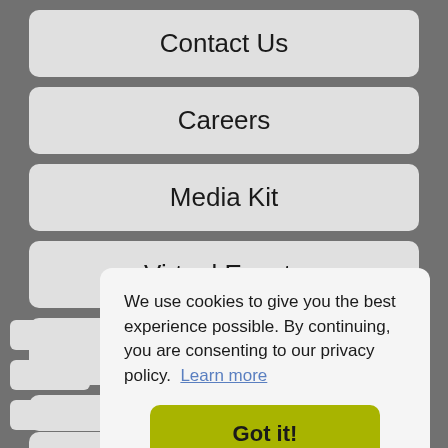Contact Us
Careers
Media Kit
Virtual Events
Posters
We use cookies to give you the best experience possible. By continuing, you are consenting to our privacy policy. Learn more
Got it!